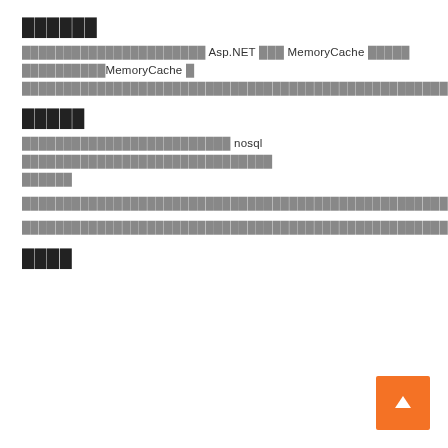██████
██████████████████████ Asp.NET ███ MemoryCache █████ ██████████MemoryCache █ ████████████████████████████████████████████████████████████████████████████████ ████████████████
█████
█████████████████████████ nosql ██████████████████████████████ ██████
██████████████████████████████████████████████████████████████████████████████████████████████████████████████████████████████████████████████████████
██████████████████████████████████████████████████████████████████████████████████████████████████████████████████████████████████████████████████████████████████████████████████████████████████████████████████████████████████████
████